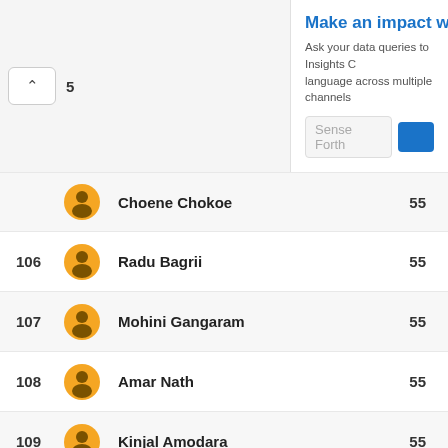[Figure (screenshot): Top banner showing 'Make an impact with in...' heading, subtext about Insights, Sense Forth input and blue button]
| Rank | Avatar | Name | Score |
| --- | --- | --- | --- |
|  |  | Choene Chokoe | 55 |
| 106 |  | Radu Bagrii | 55 |
| 107 |  | Mohini Gangaram | 55 |
| 108 |  | Amar Nath | 55 |
| 109 |  | Kinjal Amodara | 55 |
| 110 |  | Ismail Zine El Abidine | 55 |
| 111 |  | RishankReddy | 55 |
| 112 |  | Hoàng Nhật Duy Nguyễn | 50 |